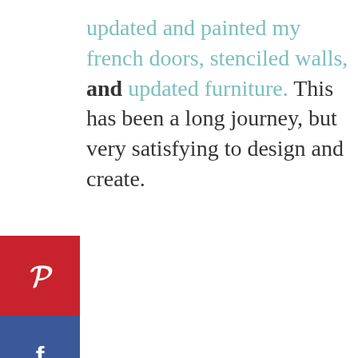updated and painted my french doors, stenciled walls, and updated furniture. This has been a long journey, but very satisfying to design and create.
[Figure (other): Social sharing sidebar with Pinterest (red), Facebook (blue), and email (green) buttons, showing 1.5K shares]
[Figure (photo): Image placeholder with three loading dots]